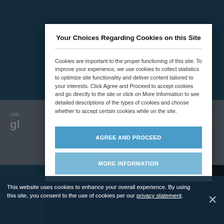Your Choices Regarding Cookies on this Site
Cookies are important to the proper functioning of this site. To improve your experience, we use cookies to collect statistics to optimize site functionality and deliver content tailored to your interests. Click Agree and Proceed to accept cookies and go directly to the site or click on More Information to see detailed descriptions of the types of cookies and choose whether to accept certain cookies while on the site.
AGREE AND PROCEED
MORE INFORMATION
This website uses cookies to enhance your overall experience. By using this site, you consent to the use of cookies per our privacy statement.